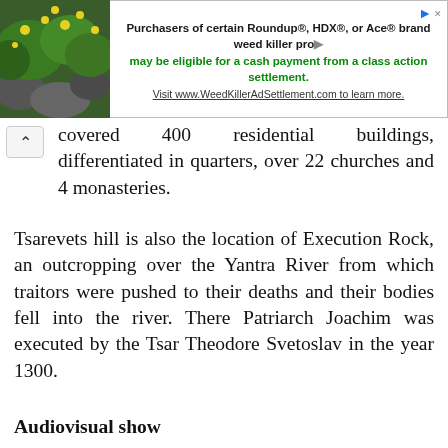[Figure (other): Advertisement banner with plant/flower image on left and text about Roundup/HDX/Ace weed killer class action settlement on right]
covered 400 residential buildings, differentiated in quarters, over 22 churches and 4 monasteries.
Tsarevets hill is also the location of Execution Rock, an outcropping over the Yantra River from which traitors were pushed to their deaths and their bodies fell into the river. There Patriarch Joachim was executed by the Tsar Theodore Svetoslav in the year 1300.
Audiovisual show
The Sound and Light (Звук и светлина, Zvuk i svetlina) audiovisual show is an attraction carried out in the evening that uses three lasers, variegated lights, dramatic music, and church